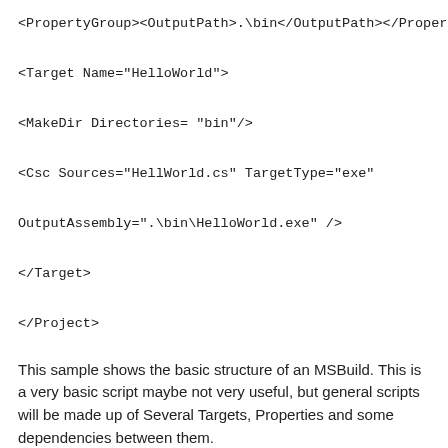<PropertyGroup><OutputPath>.\bin</OutputPath></PropertyGroup>

<Target Name="HelloWorld">

<MakeDir Directories= "bin"/>

<Csc Sources="HellWorld.cs" TargetType="exe"

OutputAssembly=".\bin\HelloWorld.exe" />

</Target>

</Project>
This sample shows the basic structure of an MSBuild. This is a very basic script maybe not very useful, but general scripts will be made up of Several Targets, Properties and some dependencies between them.
Properties